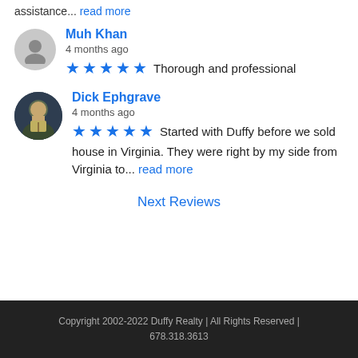assistance... read more
Muh Khan
4 months ago
★★★★★ Thorough and professional
Dick Ephgrave
4 months ago
★★★★★ Started with Duffy before we sold house in Virginia. They were right by my side from Virginia to... read more
Next Reviews
Copyright 2002-2022 Duffy Realty | All Rights Reserved |
678.318.3613